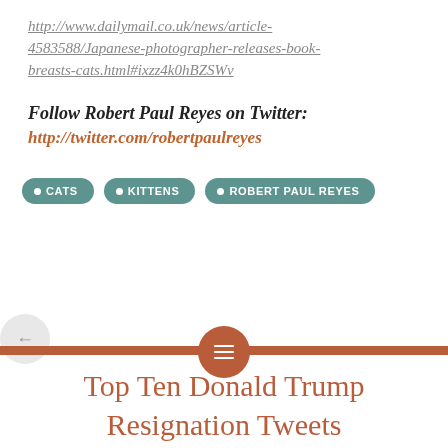http://www.dailymail.co.uk/news/article-4583588/Japanese-photographer-releases-book-breasts-cats.html#ixzz4k0hBZSWv
Follow Robert Paul Reyes on Twitter: http://twitter.com/robertpaulreyes
CATS
KITTENS
ROBERT PAUL REYES
Top Ten Donald Trump Resignation Tweets
JUNE 14, 2017
ROBERTPAULREYES